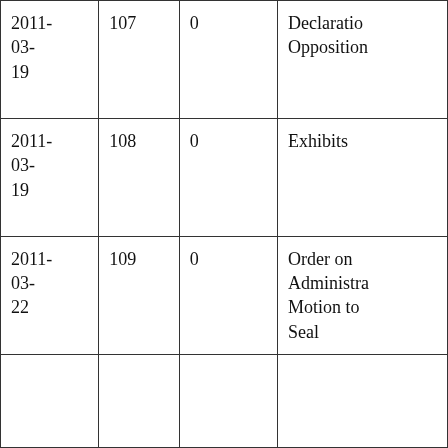| 2011-03-19 | 107 | 0 | Declaration of Opposition |
| 2011-03-19 | 108 | 0 | Exhibits |
| 2011-03-22 | 109 | 0 | Order on Administrative Motion to Seal |
|  |  |  |  |